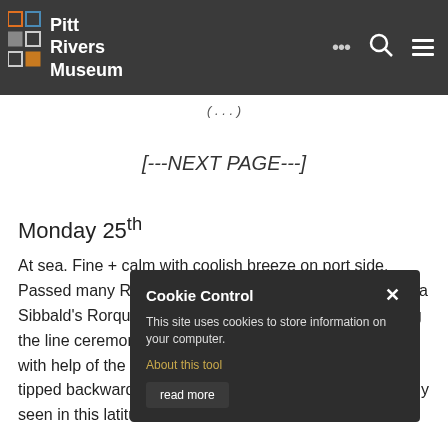Pitt Rivers Museum
(...)
[---NEXT PAGE---]
Monday 25th
At sea. Fine + calm with coolish breeze on port side. Passed many Rorquals fishing in morning; one probably a Sibbald's Rorqual; also Albatrosses + Petrels. Crossing the line ceremony at 3pm. Amusing + elaborately done with help of the canvas bath, which all neophytes were tipped backwards. Captain told that whales are very rarely seen in this latitude.
[Figure (screenshot): Cookie Control popup overlay with title 'Cookie Control', close button (x), body text 'This site uses cookies to store information on your computer.', a link 'About this tool', and a 'read more' button.]